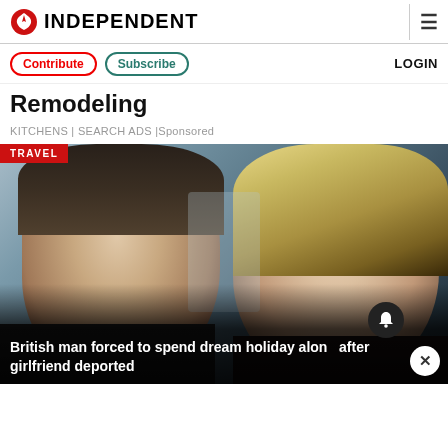INDEPENDENT
Contribute | Subscribe | LOGIN
Remodeling
KITCHENS | SEARCH ADS | Sponsored
[Figure (photo): Couple selfie photo — man with dark styled hair and blue eyes on the left, woman with blonde highlighted hair on the right. Red TRAVEL badge at top left. Dark overlay at bottom with headline text.]
British man forced to spend dream holiday alone after girlfriend deported